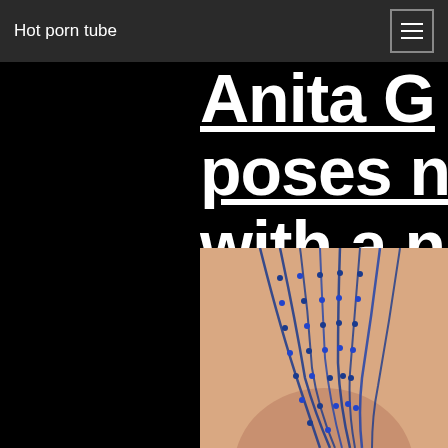Hot porn tube
Anita G poses nu with a ni piece o jewelry around h neck
[Figure (photo): Partial photo showing a person wearing blue beaded jewelry/necklaces around their neck, visible from the shoulders up, skin tone background]